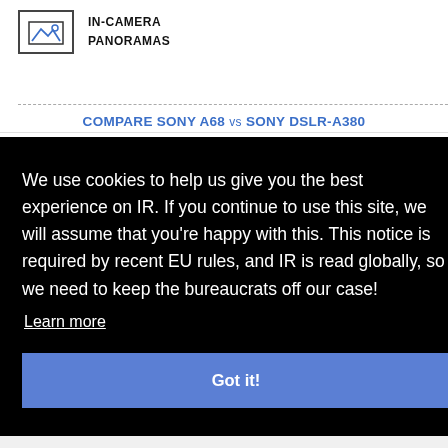[Figure (illustration): Camera panorama icon - a rectangle with mountain/landscape icon inside]
IN-CAMERA
PANORAMAS
COMPARE SONY A68 vs SONY DSLR-A380
We use cookies to help us give you the best experience on IR. If you continue to use this site, we will assume that you're happy with this. This notice is required by recent EU rules, and IR is read globally, so we need to keep the bureaucrats off our case!
Learn more
Got it!
[Figure (photo): Partial view of a black camera body with dial and strap lug visible]